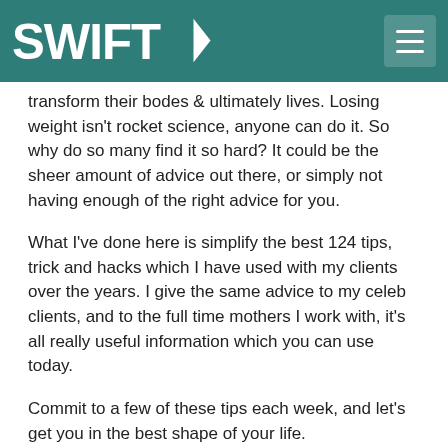SWIFT>
transform their bodes & ultimately lives. Losing weight isn't rocket science, anyone can do it. So why do so many find it so hard? It could be the sheer amount of advice out there, or simply not having enough of the right advice for you.
What I've done here is simplify the best 124 tips, trick and hacks which I have used with my clients over the years. I give the same advice to my celeb clients, and to the full time mothers I work with, it's all really useful information which you can use today.
Commit to a few of these tips each week, and let's get you in the best shape of your life.